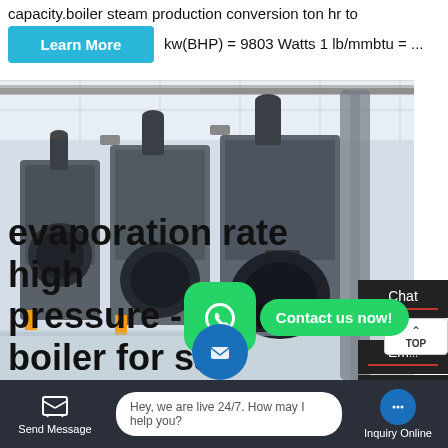capacity.boiler steam production conversion ton hr to kw(BHP) = 9803 Watts 1 lb/mmbtu = ...
[Figure (photo): Industrial boiler room with multiple large steam boilers in a white-walled facility, showing grey metallic boiler units with blue/black piping and combustion chambers lined up in a row.]
evaporation rate high pressure - best boiler for sale
Chat
Em...
Contact
Contact us now!
Hey, we are live 24/7. How may I help you?
Send Message
Inquiry Online